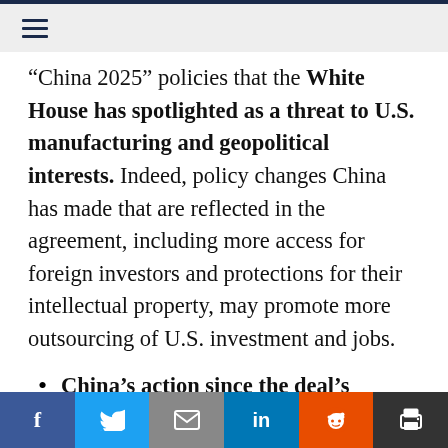≡
"China 2025" policies that the White House has spotlighted as a threat to U.S. manufacturing and geopolitical interests. Indeed, policy changes China has made that are reflected in the agreement, including more access for foreign investors and protections for their intellectual property, may promote more outsourcing of U.S. investment and jobs.
China's action since the deal's